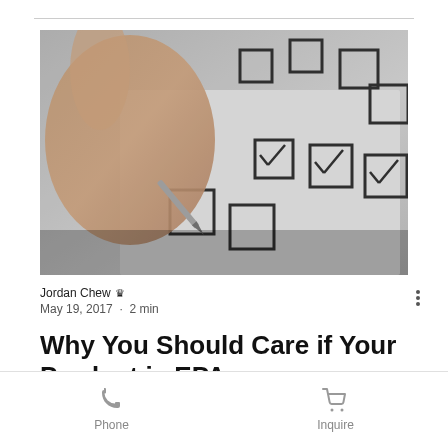[Figure (photo): A hand holding a pen checking boxes on a checklist form with multiple empty and checked checkbox squares]
Jordan Chew 👑
May 19, 2017 · 2 min
Why You Should Care if Your Product is EPA
Phone    Inquire